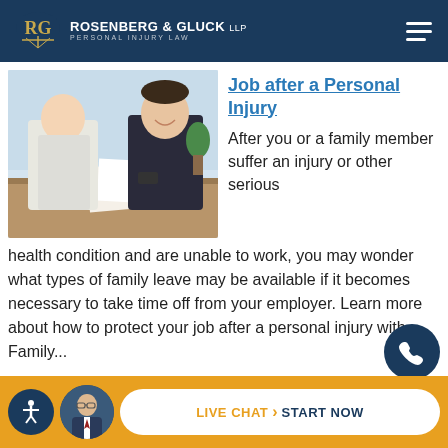Rosenberg & Gluck LLP Personal Injury Law
[Figure (photo): Two people shaking hands across a desk in a professional office setting, one person in a white shirt and the other in a dark blazer]
Job after a Personal Injury
After you or a family member suffer an injury or other serious health condition and are unable to work, you may wonder what types of family leave may be available if it becomes necessary to take time off from your employer. Learn more about how to protect your job after a personal injury with Family...
[Figure (photo): Male attorney avatar in circular frame]
LIVE CHAT > START NOW